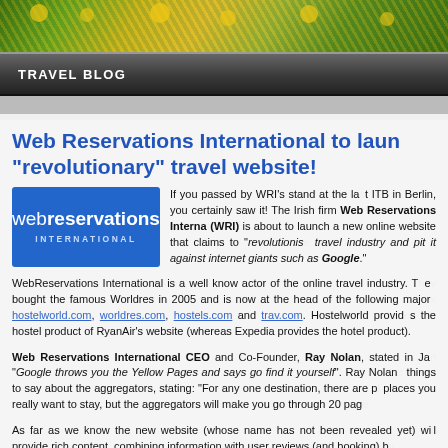[Figure (photo): Header photo of yellow flowers and green foliage]
TRAVEL BLOG
Web Reservations International to launch “revolutionary” travel website!
[Figure (logo): Web Reservations International logo - blue background with webreservations INTERNATIONAL text]
If you passed by WRI’s stand at the last ITB in Berlin, you certainly saw it! The Irish firm Web Reservations International (WRI) is about to launch a new online website that claims to “revolutionis… travel industry and pit it against internet giants such as Google.”
WebReservations International is a well know actor of the online travel industry. They bought the famous Worldres in 2005 and is now at the head of the following major brands: hostelworld.com, worldres.com, hostels.com and trav.com. Hostelworld provides the hostel product of RyanAir’s website (whereas Expedia provides the hotel product).
Web Reservations International CEO and Co-Founder, Ray Nolan, stated in January that “Google throws you the Yellow Pages and says go find it yourself”. Ray Nolan had more things to say about the aggregators, stating: “For any one destination, there are places you really want to stay, but the aggregators will make you go through 20 pages…
As far as we know the new website (whose name has not been revealed yet) will provide rich content, combining information with user reviews (and online booking)...